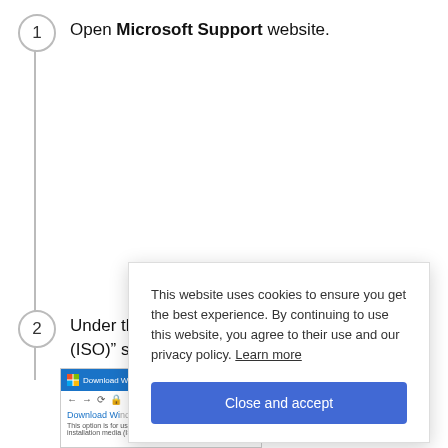1 Open Microsoft Support website.
2 Under the "(ISO)" section. Select the Windows 11 option.
[Figure (screenshot): Screenshot of a browser showing the Download Windows page on Microsoft Support website, with a blue top navigation bar and page title 'Download Wi...' and description text 'This option is for users who want to create a bootable installation media (ISO)...']
This website uses cookies to ensure you get the best experience. By continuing to use this website, you agree to their use and our privacy policy. Learn more
Close and accept